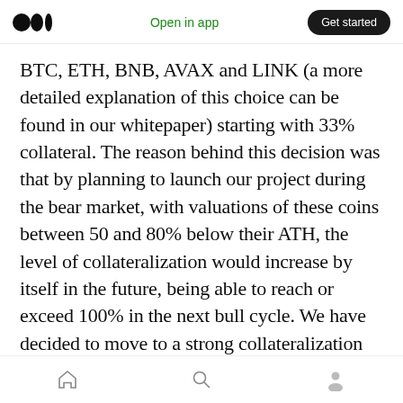Medium app header: logo, Open in app, Get started
BTC, ETH, BNB, AVAX and LINK (a more detailed explanation of this choice can be found in our whitepaper) starting with 33% collateral. The reason behind this decision was that by planning to launch our project during the bear market, with valuations of these coins between 50 and 80% below their ATH, the level of collateralization would increase by itself in the future, being able to reach or exceed 100% in the next bull cycle. We have decided to move to a strong collateralization system, with a goal of 100%
Bottom navigation: Home, Search, Profile